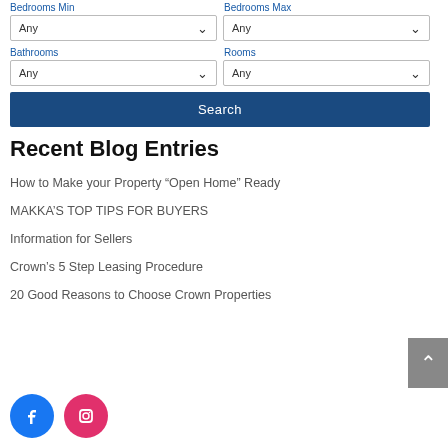Bedrooms Min
Bedrooms Max
Any
Any
Bathrooms
Rooms
Any
Any
Search
Recent Blog Entries
How to Make your Property “Open Home” Ready
MAKKA’S TOP TIPS FOR BUYERS
Information for Sellers
Crown’s 5 Step Leasing Procedure
20 Good Reasons to Choose Crown Properties
[Figure (logo): Facebook icon circle (blue)]
[Figure (logo): Instagram icon circle (pink/magenta)]